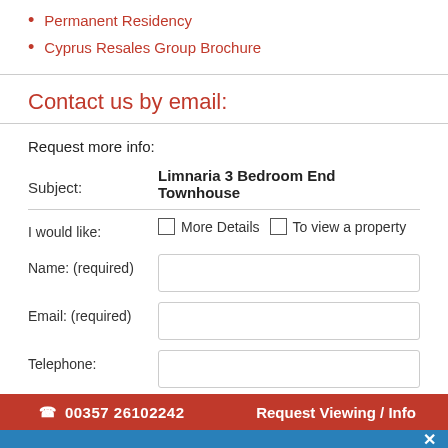Permanent Residency
Cyprus Resales Group Brochure
Contact us by email:
Request more info:
Subject: Limnaria 3 Bedroom End Townhouse
I would like: ☐ More Details ☐ To view a property
Name: (required)
Email: (required)
Telephone:
00357 26102242   Request Viewing / Info